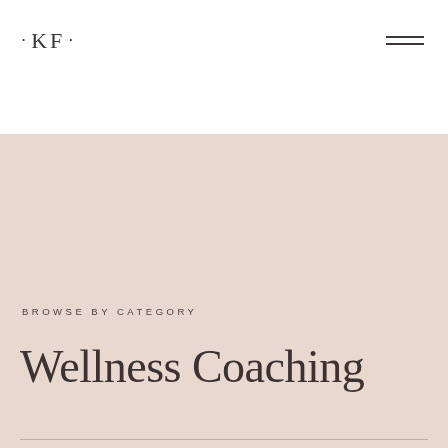• KF •
BROWSE BY CATEGORY
Wellness Coaching
Business
Marketing